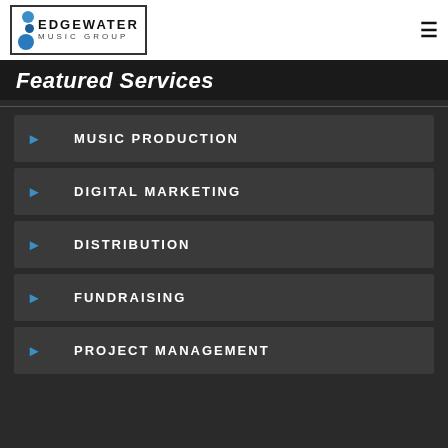[Figure (logo): Edgewater Music Group logo with blue circles and bold text in a bordered box]
Featured Services
MUSIC PRODUCTION
DIGITAL MARKETING
DISTRIBUTION
FUNDRAISING
PROJECT MANAGEMENT